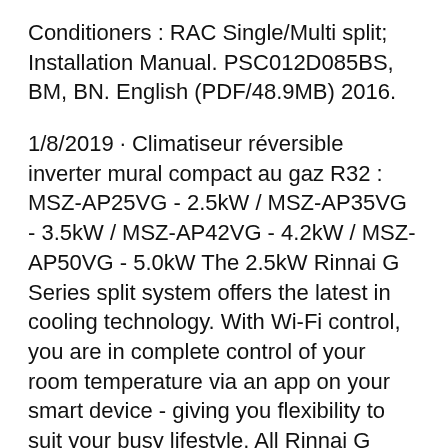Conditioners : RAC Single/Multi split; Installation Manual. PSC012D085BS, BM, BN. English (PDF/48.9MB) 2016.
1/8/2019 · Climatiseur réversible inverter mural compact au gaz R32 : MSZ-AP25VG - 2.5kW / MSZ-AP35VG - 3.5kW / MSZ-AP42VG - 4.2kW / MSZ-AP50VG - 5.0kW The 2.5kW Rinnai G Series split system offers the latest in cooling technology. With Wi-Fi control, you are in complete control of your room temperature via an app on your smart device - giving you flexibility to suit your busy lifestyle. All Rinnai G Series split systems feature high performing inverter technology with